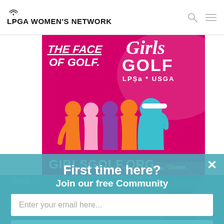LPGA WOMEN'S NETWORK
[Figure (illustration): Girls Golf advertisement banner on magenta/hot pink background showing silhouettes of female golfers in orange, pink, purple, and teal colors. Text reads 'THE FACE OF GOLF.' on left side, 'Girls GOLF LPGA * USGA' logo on right, and 'GIRLSGOLF.ORG' at bottom. OptinMonster badge in bottom right corner.]
[Figure (photo): Background photo of a female golfer wearing a visor, partially visible behind teal popup overlay.]
First time here?
Join our free Community
Enter your email here...
SUBSCIRBE